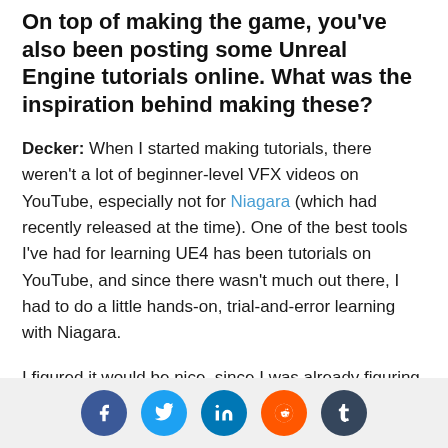On top of making the game, you've also been posting some Unreal Engine tutorials online. What was the inspiration behind making these?
Decker: When I started making tutorials, there weren't a lot of beginner-level VFX videos on YouTube, especially not for Niagara (which had recently released at the time). One of the best tools I've had for learning UE4 has been tutorials on YouTube, and since there wasn't much out there, I had to do a little hands-on, trial-and-error learning with Niagara.
I figured it would be nice, since I was already figuring it out for myself, to wrap some of those learnings up in introductory-level videos for other folks who were just getting started on VFX in UE4.
Social share icons: Facebook, Twitter, LinkedIn, Reddit, Tumblr